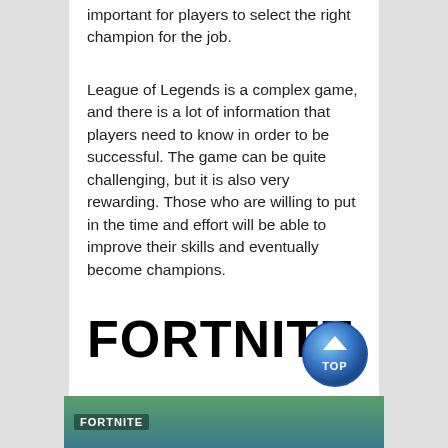important for players to select the right champion for the job.
League of Legends is a complex game, and there is a lot of information that players need to know in order to be successful. The game can be quite challenging, but it is also very rewarding. Those who are willing to put in the time and effort will be able to improve their skills and eventually become champions.
FORTNITE
[Figure (photo): Fortnite game screenshot showing characters in a green/teal environment with the FORTNITE logo overlay]